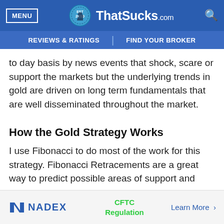MENU | ThatSucks.com | EST 2010 | Search
REVIEWS & RATINGS | FIND YOUR BROKER
to day basis by news events that shock, scare or support the markets but the underlying trends in gold are driven on long term fundamentals that are well disseminated throughout the market.
How the Gold Strategy Works
I use Fibonacci to do most of the work for this strategy. Fibonacci Retracements are a great way to predict possible areas of support and
[Figure (other): NADEX advertisement banner with CFTC Regulation text and Learn More link]